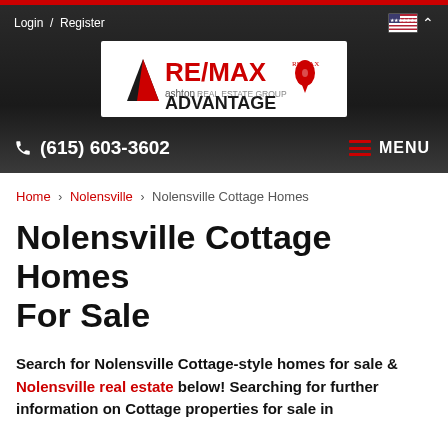Login / Register
[Figure (logo): RE/MAX Advantage Ashton Real Estate Group logo with balloon icon]
(615) 603-3602   MENU
Home > Nolensville > Nolensville Cottage Homes
Nolensville Cottage Homes For Sale
Search for Nolensville Cottage-style homes for sale & Nolensville real estate below! Searching for further information on Cottage properties for sale in